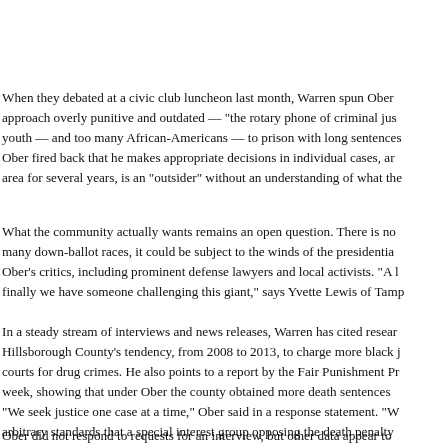When they debated at a civic club luncheon last month, Warren spun Ober's approach overly punitive and outdated — "the rotary phone of criminal justice." youth — and too many African-Americans — to prison with long sentences. Ober fired back that he makes appropriate decisions in individual cases, and area for several years, is an "outsider" without an understanding of what the
What the community actually wants remains an open question. There is no many down-ballot races, it could be subject to the winds of the presidential Ober's critics, including prominent defense lawyers and local activists. "A l finally we have someone challenging this giant," says Yvette Lewis of Tampa
In a steady stream of interviews and news releases, Warren has cited research Hillsborough County's tendency, from 2008 to 2013, to charge more black j courts for drug crimes. He also points to a report by the Fair Punishment P week, showing that under Ober the county obtained more death sentences "We seek justice one case at a time," Ober said in a response statement. "W arbitrary standards that a special interest group opposing the death penalty
Ober did not respond to requests for an interview, but other data appear to